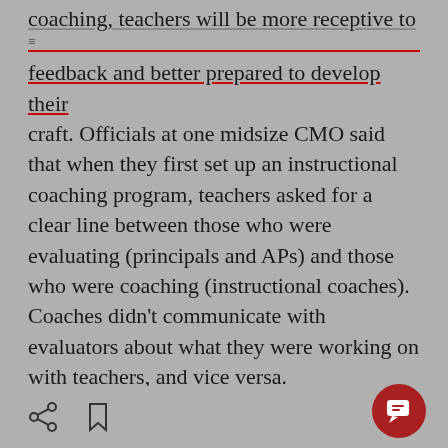coaching, teachers will be more receptive to feedback and better prepared to develop their craft. Officials at one midsize CMO said that when they first set up an instructional coaching program, teachers asked for a clear line between those who were evaluating (principals and APs) and those who were coaching (instructional coaches). Coaches didn't communicate with evaluators about what they were working on with teachers, and vice versa.
Teachers loved the customized, one-on-one nature of the program but it eventually led to